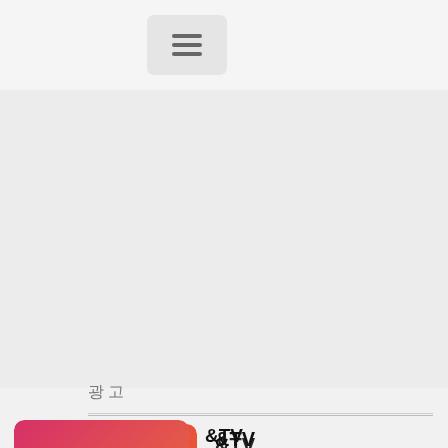[Figure (screenshot): Navigation bar with hamburger menu button (three horizontal lines icon)]
광고
&TV
광고 / 엔터테인
&TV (And TV) is a Hindi language entertainment channel owned by Zee Entertainment Enterprises. Launched as a...
10TV
광고 / 엔터테인
10tv Telugu News channel emerges on the